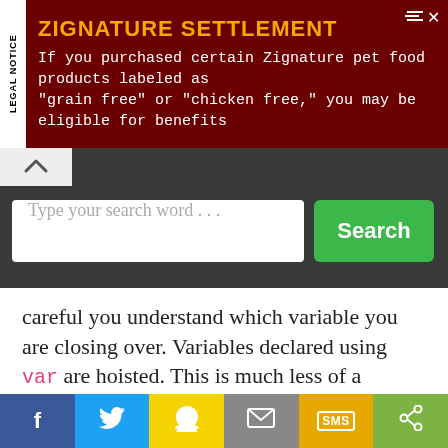[Figure (screenshot): Advertisement banner for Zignature Settlement legal notice with dark red background. Text: 'ZIGNATURE SETTLEMENT - If you purchased certain Zignature pet food products labeled as "grain free" or "chicken free," you may be eligible for benefits']
[Figure (screenshot): Search bar UI with dark background, text input field reading 'Type your search word ...' and a green Search button]
careful you understand which variable you are closing over. Variables declared using var are hoisted. This is much less of a problem in modern JavaScript due to the introduction of let and const.
In the following code, each time around the loop, a new function inner is created, which closes over i. But because var i is hoisted outside the loop, all of these inner functions close over the same variable,
[Figure (screenshot): Social sharing footer bar with buttons: Facebook (blue), Twitter (light blue), Snapchat (yellow), Email (gray), SMS (orange/yellow), Share (green)]